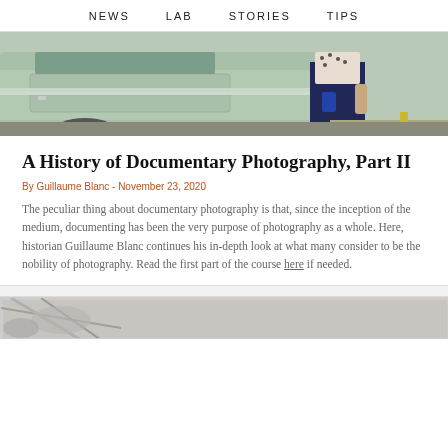NEWS   LAB   STORIES   TIPS
[Figure (photo): Cropped photo showing a vintage light green car door and a woman in a blue dress and patterned top standing beside it on a street, partially cropped.]
A History of Documentary Photography, Part II
By Guillaume Blanc - November 23, 2020
The peculiar thing about documentary photography is that, since the inception of the medium, documenting has been the very purpose of photography as a whole. Here, historian Guillaume Blanc continues his in-depth look at what many consider to be the nobility of photography. Read the first part of the course here if needed.
[Figure (photo): Partial view of a second image at the bottom of the page, showing what appears to be a black and white photograph (partially visible).]